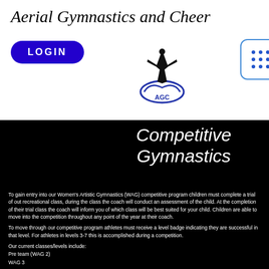Aerial Gymnastics and Cheer
[Figure (logo): LOGIN button (blue pill shape), AGC logo (gymnast silhouette with AGC text and wings), and grid/apps icon (blue dots in rounded square)]
Competitive Gymnastics
To gain entry into our Women's Artistic Gymnastics (WAG) competitive program children must complete a trial of out recreational class, during the class the coach will conduct an assessment of the child. At the completion of their trial class the coach will inform you of which class will be best suited for your child. Children are able to move into the competition throughout any point of the year at their coach.
To move through our competitive program athletes must receive a level badge indicating they are successful in that level. For athletes in levels 3-7 this is accomplished during a competition.
Our current classes/levels include:
Pre team (WAG 2)
WAG 3
WAG 4
WAG 5
WAG 6
WAG 7
Competitive gymnastics aims to:
Enhances co-ordination and agility, for body awareness